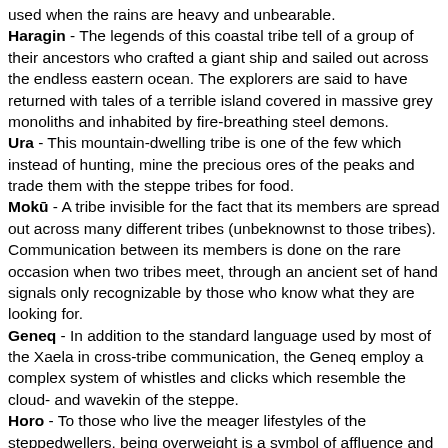used when the rains are heavy and unbearable.
Haragin - The legends of this coastal tribe tell of a group of their ancestors who crafted a giant ship and sailed out across the endless eastern ocean. The explorers are said to have returned with tales of a terrible island covered in massive grey monoliths and inhabited by fire-breathing steel demons.
Ura - This mountain-dwelling tribe is one of the few which instead of hunting, mine the precious ores of the peaks and trade them with the steppe tribes for food.
Mokū - A tribe invisible for the fact that its members are spread out across many different tribes (unbeknownst to those tribes). Communication between its members is done on the rare occasion when two tribes meet, through an ancient set of hand signals only recognizable by those who know what they are looking for.
Geneq - In addition to the standard language used by most of the Xaela in cross-tribe communication, the Geneq employ a complex system of whistles and clicks which resemble the cloud- and wavekin of the steppe.
Horo - To those who live the meager lifestyles of the steppedwellers, being overweight is a symbol of affluence and power. To appear heavier than one in their station, the members of Horo will drink copious amounts of water to bloat their bellies.